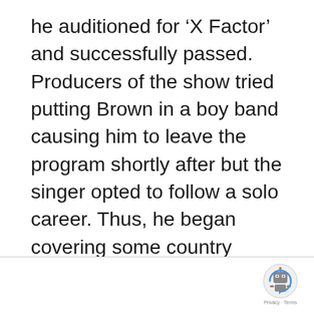he auditioned for 'X Factor' and successfully passed. Producers of the show tried putting Brown in a boy band causing him to leave the program shortly after but the singer opted to follow a solo career. Thus, he began covering some country songs and proudly shared these online.
[Figure (other): reCAPTCHA badge with robot icon and Privacy + Terms label]